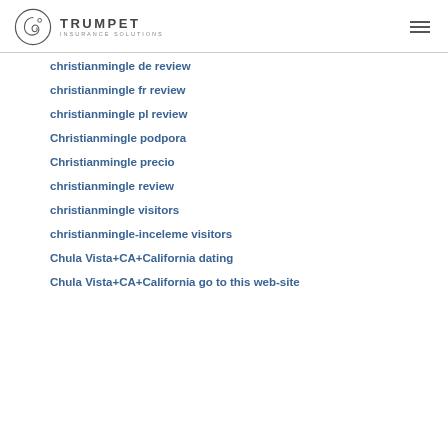TRUMPET INSURANCE SOLUTIONS
christianmingle de review
christianmingle fr review
christianmingle pl review
Christianmingle podpora
Christianmingle precio
christianmingle review
christianmingle visitors
christianmingle-inceleme visitors
Chula Vista+CA+California dating
Chula Vista+CA+California go to this web-site